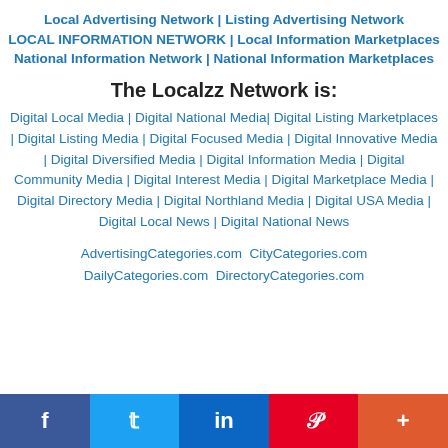Local Advertising Network | Listing Advertising Network LOCAL INFORMATION NETWORK | Local Information Marketplaces National Information Network | National Information Marketplaces
The Localzz Network is:
Digital Local Media | Digital National Media| Digital Listing Marketplaces | Digital Listing Media | Digital Focused Media | Digital Innovative Media | Digital Diversified Media | Digital Information Media | Digital Community Media | Digital Interest Media | Digital Marketplace Media | Digital Directory Media | Digital Northland Media | Digital USA Media | Digital Local News | Digital National News
AdvertisingCategories.com  CityCategories.com DailyCategories.com  DirectoryCategories.com
[Figure (infographic): Social media share bar with Facebook, Twitter, LinkedIn, Pinterest, and More buttons]